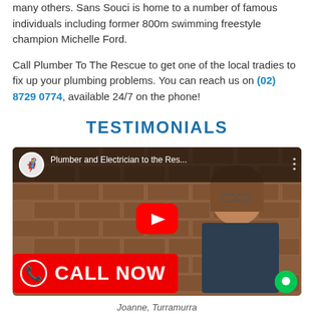many others. Sans Souci is home to a number of famous individuals including former 800m swimming freestyle champion Michelle Ford.
Call Plumber To The Rescue to get one of the local tradies to fix up your plumbing problems. You can reach us on (02) 8729 0774, available 24/7 on the phone!
TESTIMONIALS
[Figure (screenshot): YouTube video thumbnail showing a woman in front of a brick wall, with video title 'Plumber and Electrician to the Res...' and a red play button in the center. A 'CALL NOW' red banner overlays the bottom left.]
Joanne, Turramurra